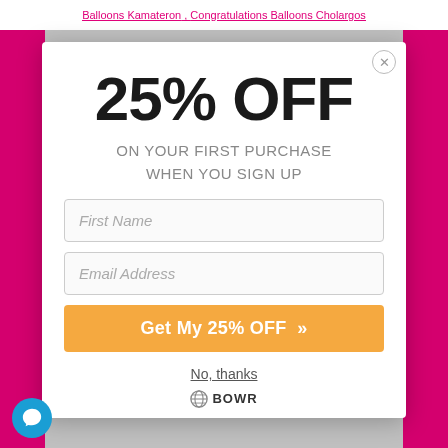Balloons Kamateron , Congratulations Balloons Cholargos
25% OFF
ON YOUR FIRST PURCHASE WHEN YOU SIGN UP
First Name
Email Address
Get My 25% OFF »
No, thanks
[Figure (logo): BOWR logo with globe icon]